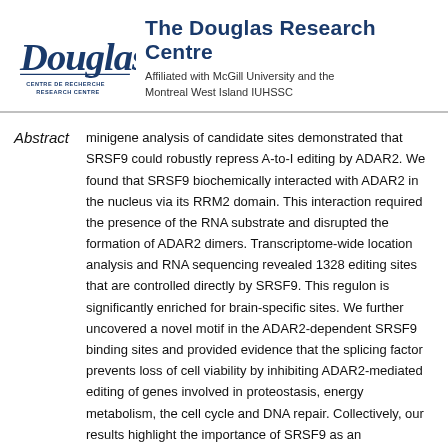[Figure (logo): Douglas Research Centre logo — stylized cursive 'Douglas' text above 'CENTRE DE RECHERCHE RESEARCH CENTRE' in small caps]
The Douglas Research Centre
Affiliated with McGill University and the Montreal West Island IUHSSC
Abstract
minigene analysis of candidate sites demonstrated that SRSF9 could robustly repress A-to-I editing by ADAR2. We found that SRSF9 biochemically interacted with ADAR2 in the nucleus via its RRM2 domain. This interaction required the presence of the RNA substrate and disrupted the formation of ADAR2 dimers. Transcriptome-wide location analysis and RNA sequencing revealed 1328 editing sites that are controlled directly by SRSF9. This regulon is significantly enriched for brain-specific sites. We further uncovered a novel motif in the ADAR2-dependent SRSF9 binding sites and provided evidence that the splicing factor prevents loss of cell viability by inhibiting ADAR2-mediated editing of genes involved in proteostasis, energy metabolism, the cell cycle and DNA repair. Collectively, our results highlight the importance of SRSF9 as an